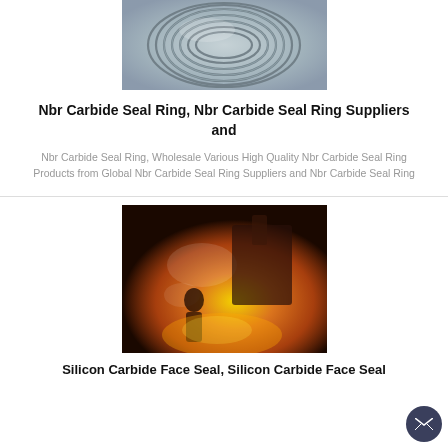[Figure (photo): Photo of a coiled metal wire/cable roll, likely steel, shown on a light background]
Nbr Carbide Seal Ring, Nbr Carbide Seal Ring Suppliers and
Nbr Carbide Seal Ring, Wholesale Various High Quality Nbr Carbide Seal Ring Products from Global Nbr Carbide Seal Ring Suppliers and Nbr Carbide Seal Ring
[Figure (photo): Photo of an industrial foundry/steel mill worker near molten metal with orange fire and steam]
Silicon Carbide Face Seal, Silicon Carbide Face Seal